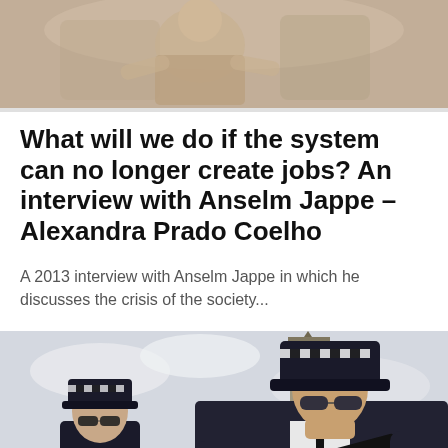[Figure (photo): Top photo showing a person seated, partial view, light background]
What will we do if the system can no longer create jobs? An interview with Anselm Jappe – Alexandra Prado Coelho
A 2013 interview with Anselm Jappe in which he discusses the crisis of the society...
[Figure (photo): Two armed police officers in uniform with Big Ben in the background, London]